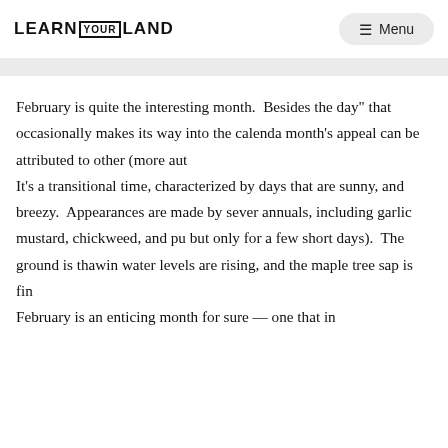LEARN YOUR LAND   Menu
February is quite the interesting month.  Besides the day" that occasionally makes its way into the calenda month's appeal can be attributed to other (more aut
It's a transitional time, characterized by days that are sunny, and breezy.  Appearances are made by sever annuals, including garlic mustard, chickweed, and pu but only for a few short days).  The ground is thawin water levels are rising, and the maple tree sap is fin
February is an enticing month for sure — one that in